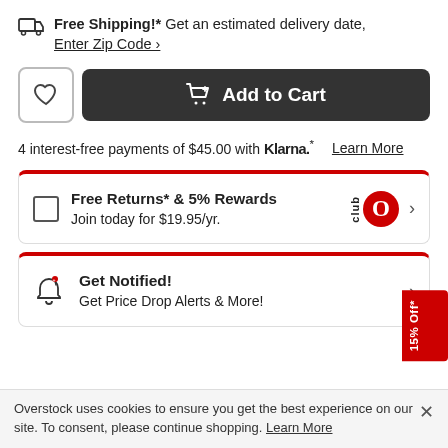Free Shipping!* Get an estimated delivery date, Enter Zip Code >
Add to Cart
4 interest-free payments of $45.00 with Klarna.* Learn More
Free Returns* & 5% Rewards
Join today for $19.95/yr.
Get Notified!
Get Price Drop Alerts & More!
15% Off*
Overstock uses cookies to ensure you get the best experience on our site. To consent, please continue shopping. Learn More